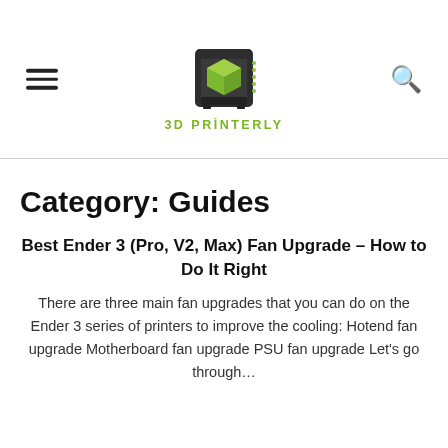3D PRINTERLY
Category: Guides
Best Ender 3 (Pro, V2, Max) Fan Upgrade – How to Do It Right
There are three main fan upgrades that you can do on the Ender 3 series of printers to improve the cooling: Hotend fan upgrade Motherboard fan upgrade PSU fan upgrade Let's go through…